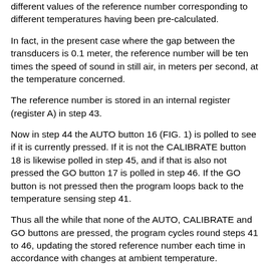different values of the reference number corresponding to different temperatures having been pre-calculated.
In fact, in the present case where the gap between the transducers is 0.1 meter, the reference number will be ten times the speed of sound in still air, in meters per second, at the temperature concerned.
The reference number is stored in an internal register (register A) in step 43.
Now in step 44 the AUTO button 16 (FIG. 1) is polled to see if it is currently pressed. If it is not the CALIBRATE button 18 is likewise polled in step 45, and if that is also not pressed the GO button 17 is polled in step 46. If the GO button is not pressed then the program loops back to the temperature sensing step 41.
Thus all the while that none of the AUTO, CALIBRATE and GO buttons are pressed, the program cycles round steps 41 to 46, updating the stored reference number each time in accordance with changes at ambient temperature.
If we now assume that the AUTO button is pressed, the program will branch to step 47, and set a flag (flag 2) to "AUTO". Now the program counts to 200 ms (200 milliseconds)